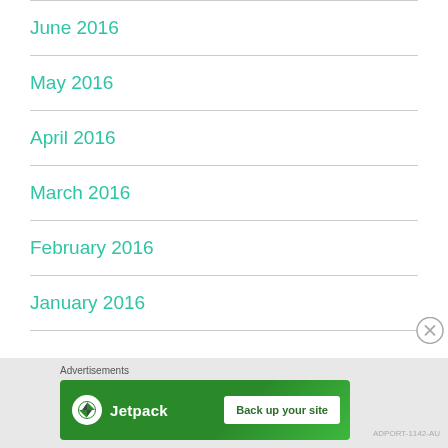June 2016
May 2016
April 2016
March 2016
February 2016
January 2016
[Figure (other): Jetpack advertisement banner with 'Back up your site' button and close (X) button]
Advertisements